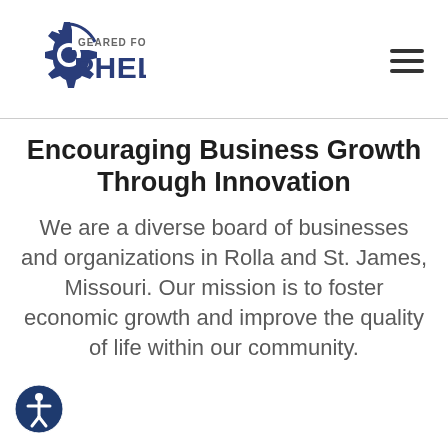[Figure (logo): Geared for Phelps logo with a dark blue gear icon on the left and text 'GEARED FOR PHELPS' in blue and dark navy]
Encouraging Business Growth Through Innovation
We are a diverse board of businesses and organizations in Rolla and St. James, Missouri. Our mission is to foster economic growth and improve the quality of life within our community.